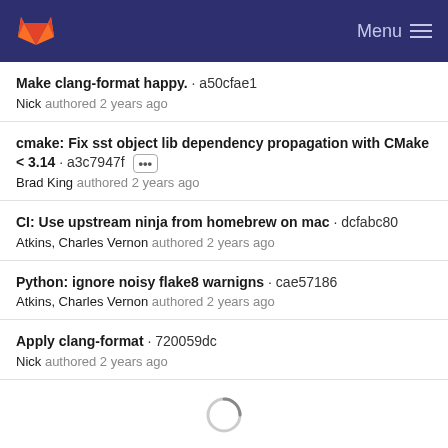GitLab — Menu
Make clang-format happy. · a50cfae1
Nick authored 2 years ago
cmake: Fix sst object lib dependency propagation with CMake < 3.14 · a3c7947f
Brad King authored 2 years ago
CI: Use upstream ninja from homebrew on mac · dcfabc80
Atkins, Charles Vernon authored 2 years ago
Python: ignore noisy flake8 warnigns · cae57186
Atkins, Charles Vernon authored 2 years ago
Apply clang-format · 720059dc
Nick authored 2 years ago
[Figure (other): Loading spinner animation]